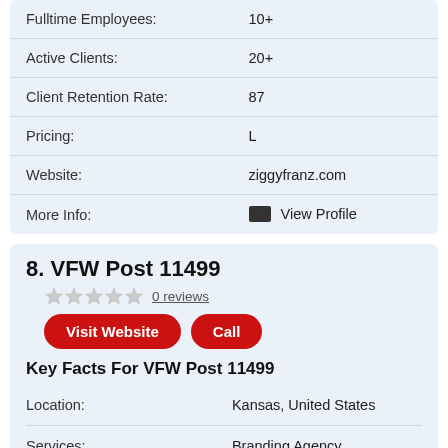| Field | Value |
| --- | --- |
| Fulltime Employees: | 10+ |
| Active Clients: | 20+ |
| Client Retention Rate: | 87 |
| Pricing: | L |
| Website: | ziggyfranz.com |
| More Info: | View Profile |
8. VFW Post 11499
0 reviews
Visit Website  Call
Key Facts For VFW Post 11499
| Field | Value |
| --- | --- |
| Location: | Kansas, United States |
| Services: | Branding Agency |
| Year Founded: | 2016 |